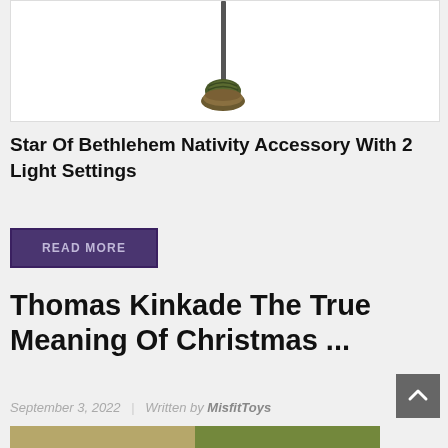[Figure (illustration): Product image of a Star of Bethlehem nativity accessory - a pole/staff with a star or decorative element at top, shown against white background, partially cropped at top]
Star Of Bethlehem Nativity Accessory With 2 Light Settings
READ MORE
Thomas Kinkade The True Meaning Of Christmas ...
September 3, 2022 | Written by MisfitToys
[Figure (photo): Partial bottom image strip showing colorful product images, cropped]